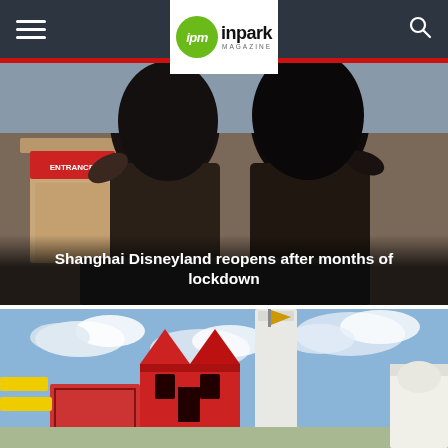ipm inpark MAGAZINE
[Figure (photo): Two women with dark hair riding a theme park attraction at Shanghai Disneyland, seen from behind, with park architecture in background]
Shanghai Disneyland reopens after months of lockdown
[Figure (photo): Colorful theme park playground structure with red roofs, tall white tower, yellow flag, and cloudy blue sky background]